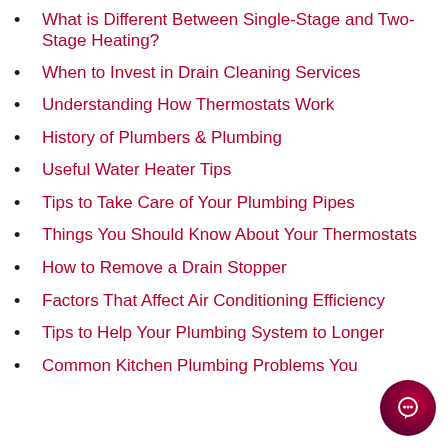What is Different Between Single-Stage and Two-Stage Heating?
When to Invest in Drain Cleaning Services
Understanding How Thermostats Work
History of Plumbers & Plumbing
Useful Water Heater Tips
Tips to Take Care of Your Plumbing Pipes
Things You Should Know About Your Thermostats
How to Remove a Drain Stopper
Factors That Affect Air Conditioning Efficiency
Tips to Help Your Plumbing System to Longer
Common Kitchen Plumbing Problems You